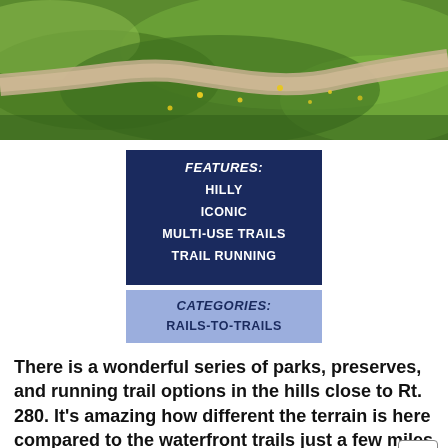[Figure (photo): Aerial or landscape photo of a green grassy field with a dirt path/trail running through it, with yellow wildflowers visible]
FEATURES: HILLY ICONIC MULTI-USE TRAILS TRAIL RUNNING
CATEGORIES: RAILS-TO-TRAILS
There is a wonderful series of parks, preserves, and running trail options in the hills close to Rt. 280. It's amazing how different the terrain is here compared to the waterfront trails just a few miles to the east.